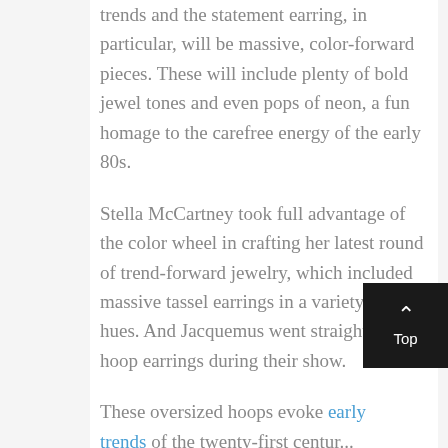trends and the statement earring, in particular, will be massive, color-forward pieces. These will include plenty of bold jewel tones and even pops of neon, a fun homage to the carefree energy of the early 80s.
Stella McCartney took full advantage of the color wheel in crafting her latest round of trend-forward jewelry, which included massive tassel earrings in a variety of bold hues. And Jacquemus went straight for the hoop earrings during their show.
These oversized hoops evoke early trends of the twenty-first century...